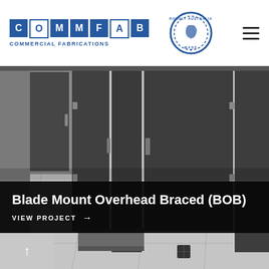COMMFAB COMMERCIAL FABRICATIONS — Proudly Australian Made
[Figure (photo): Interior photograph of toilet cubicles with dark charcoal laminate panels and doors, grey tiled floor, showing multiple stall partitions in a row with overhead bracing visible.]
Blade Mount Overhead Braced (BOB)
VIEW PROJECT →